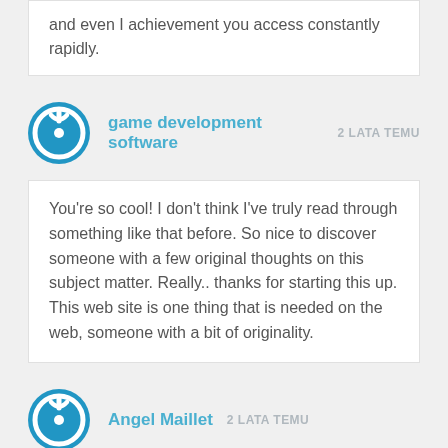and even I achievement you access constantly rapidly.
game development software  2 LATA TEMU
You're so cool! I don't think I've truly read through something like that before. So nice to discover someone with a few original thoughts on this subject matter. Really.. thanks for starting this up. This web site is one thing that is needed on the web, someone with a bit of originality.
Angel Maillet  2 LATA TEMU
Your style is very unique in comparison to other people I've read stuff from. Thank you for posting when you've got the opportunity, Guess I will just bookmark this blog.